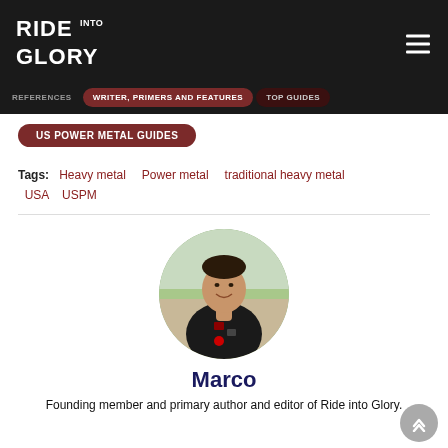[Figure (logo): Ride into Glory logo in white distressed font on black background with hamburger menu icon]
REFERENCES   WRITER, PRIMERS AND FEATURES   TOP GUIDES
US POWER METAL GUIDES
Tags:  Heavy metal   Power metal   traditional heavy metal   USA   USPM
[Figure (photo): Circular cropped photo of Marco, a man in a black t-shirt with patches, outdoors on a sunny day]
Marco
Founding member and primary author and editor of Ride into Glory.